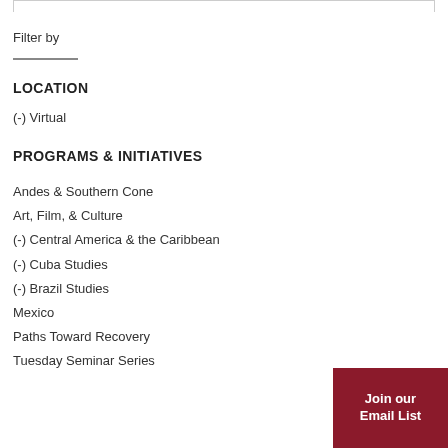Filter by
LOCATION
(-) Virtual
PROGRAMS & INITIATIVES
Andes & Southern Cone
Art, Film, & Culture
(-) Central America & the Caribbean
(-) Cuba Studies
(-) Brazil Studies
Mexico
Paths Toward Recovery
Tuesday Seminar Series
Join our Email List